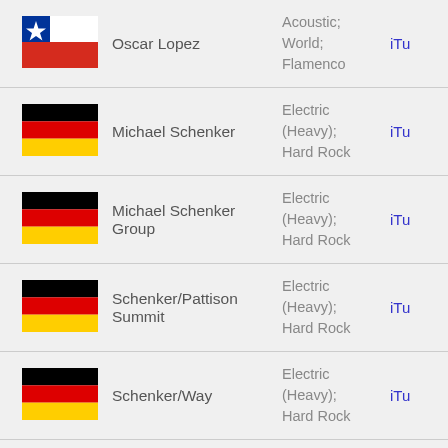| Flag | Artist | Genre | Link |
| --- | --- | --- | --- |
| Chile | Oscar Lopez | Acoustic; World; Flamenco | iTu |
| Germany | Michael Schenker | Electric (Heavy); Hard Rock | iTu |
| Germany | Michael Schenker Group | Electric (Heavy); Hard Rock | iTu |
| Germany | Schenker/Pattison Summit | Electric (Heavy); Hard Rock | iTu |
| Germany | Schenker/Way | Electric (Heavy); Hard Rock | iTu |
| USA | Neal Schon | Electric; New Age; | iTu |